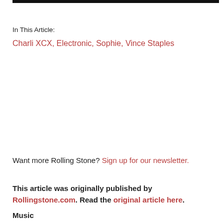In This Article:
Charli XCX, Electronic, Sophie, Vince Staples
Want more Rolling Stone? Sign up for our newsletter.
This article was originally published by Rollingstone.com. Read the original article here. Music